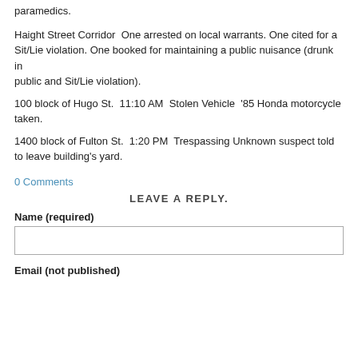paramedics.
Haight Street Corridor  One arrested on local warrants. One cited for a Sit/Lie violation. One booked for maintaining a public nuisance (drunk in public and Sit/Lie violation).
100 block of Hugo St.  11:10 AM  Stolen Vehicle  '85 Honda motorcycle taken.
1400 block of Fulton St.  1:20 PM  Trespassing Unknown suspect told to leave building's yard.
0 Comments
LEAVE A REPLY.
Name (required)
Email (not published)